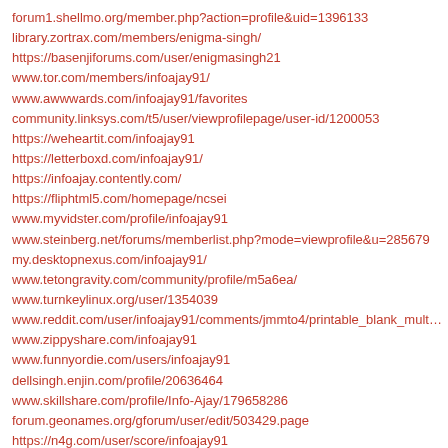forum1.shellmo.org/member.php?action=profile&uid=1396133
library.zortrax.com/members/enigma-singh/
https://basenjiforums.com/user/enigmasingh21
www.tor.com/members/infoajay91/
www.awwwards.com/infoajay91/favorites
community.linksys.com/t5/user/viewprofilepage/user-id/1200053
https://weheartit.com/infoajay91
https://letterboxd.com/infoajay91/
https://infoajay.contently.com/
https://fliphtml5.com/homepage/ncsei
www.myvidster.com/profile/infoajay91
www.steinberg.net/forums/memberlist.php?mode=viewprofile&u=285679
my.desktopnexus.com/infoajay91/
www.tetongravity.com/community/profile/m5a6ea/
www.turnkeylinux.org/user/1354039
www.reddit.com/user/infoajay91/comments/jmmto4/printable_blank_multiplicatio
www.zippyshare.com/infoajay91
www.funnyordie.com/users/infoajay91
dellsingh.enjin.com/profile/20636464
www.skillshare.com/profile/Info-Ajay/179658286
forum.geonames.org/gforum/user/edit/503429.page
https://n4g.com/user/score/infoajay91